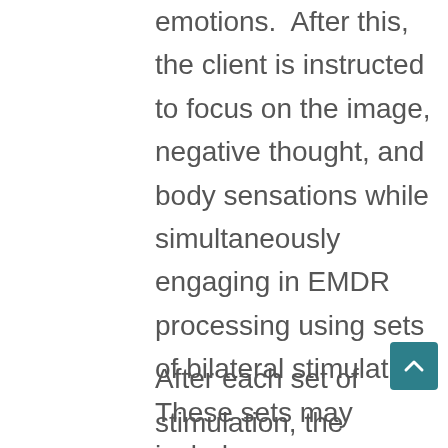emotions.  After this, the client is instructed to focus on the image, negative thought, and body sensations while simultaneously engaging in EMDR processing using sets of bilateral stimulation.  These sets may include eye movements, taps, or tones.  The type and length of these sets is different for each client.  At this point, the EMDR client is instructed to just notice whatever spontaneously happens.
After each set of stimulation, the